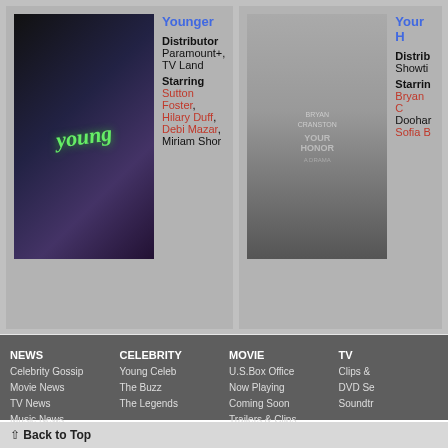Younger
Distributor
Paramount+, TV Land
Starring
Sutton Foster, Hilary Duff, Debi Mazar, Miriam Shor
[Figure (photo): Younger TV show poster with dark background and green stylized 'young' text]
Your Honor
Distributor
Showtime
Starring
Bryan C..., Doohan..., Sofia B...
[Figure (photo): Your Honor show poster - black and white close-up of older man's face]
NEWS
Celebrity Gossip
Movie News
TV News
Music News
2013 Archives
2012 Archives
CELEBRITY
Young Celeb
The Buzz
The Legends
MOVIE
U.S.Box Office
Now Playing
Coming Soon
Trailers & Clips
Stills & Pictures
Reviews & Critics
DVD
Soundtrack
TV
Clips &...
DVD Se...
Soundtrack
⇧ Back to Top